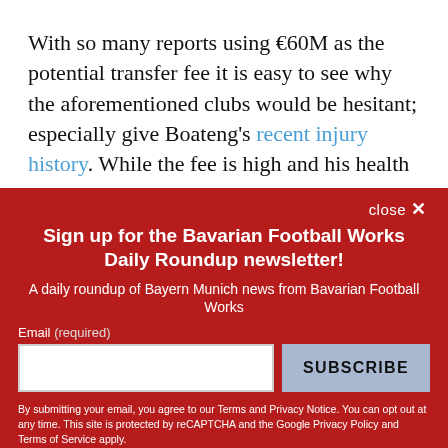With so many reports using €60M as the potential transfer fee it is easy to see why the aforementioned clubs would be hesitant; especially give Boateng's recent injury history. While the fee is high and his health always seems to be tenuous, Boateng does
close ×
Sign up for the Bavarian Football Works Daily Roundup newsletter!
A daily roundup of Bayern Munich news from Bavarian Football Works
Email (required)
SUBSCRIBE
By submitting your email, you agree to our Terms and Privacy Notice. You can opt out at any time. This site is protected by reCAPTCHA and the Google Privacy Policy and Terms of Service apply.